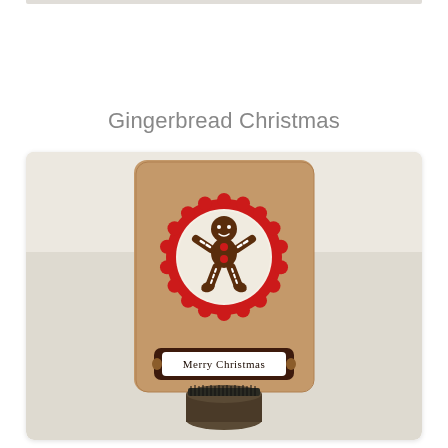Gingerbread Christmas
[Figure (photo): A handmade Christmas greeting card displayed in a card holder. The card is kraft brown paper with a red scalloped circle containing a brown gingerbread man figure with white icing details and red button dots. Below the circle is a dark brown banner with a white label reading 'Merry Christmas' in old English script, flanked by small gingerbread man figures. The card is propped up in a vintage-style metal card holder with a brush/bristle base.]